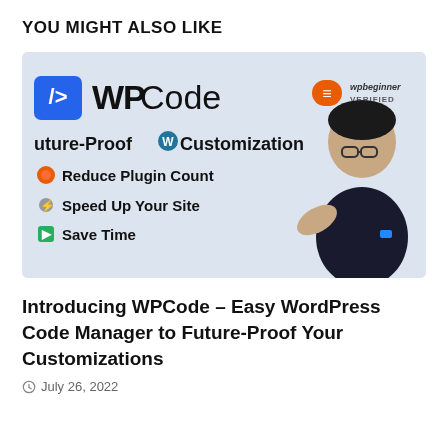YOU MIGHT ALSO LIKE
[Figure (screenshot): WPCode promotional banner showing the WPCode logo, 'Future-Proof WordPress Customization' tagline, bullet points: Reduce Plugin Count, Speed Up Your Site, Save Time, a wpbeginner VERIFIED badge, and a man in a black shirt gesturing.]
Introducing WPCode – Easy WordPress Code Manager to Future-Proof Your Customizations
July 26, 2022